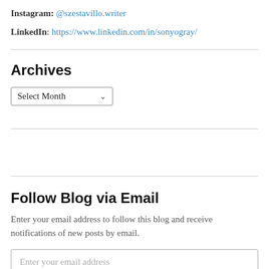Instagram: @szestavillo.writer
LinkedIn: https://www.linkedin.com/in/sonyogray/
Archives
Select Month
Follow Blog via Email
Enter your email address to follow this blog and receive notifications of new posts by email.
Enter your email address